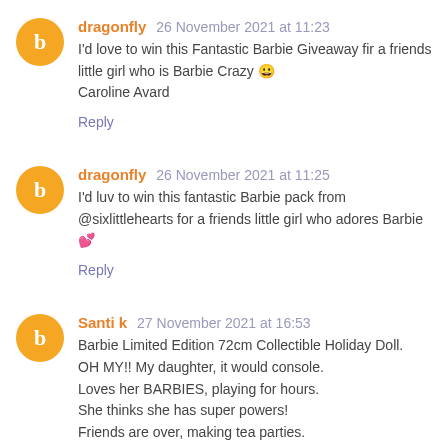dragonfly 26 November 2021 at 11:23 — I'd love to win this Fantastic Barbie Giveaway fir a friends little girl who is Barbie Crazy 😊 Caroline Avard — Reply
dragonfly 26 November 2021 at 11:25 — I'd luv to win this fantastic Barbie pack from @sixlittlehearts for a friends little girl who adores Barbie 💕 — Reply
Santi k 27 November 2021 at 16:53 — Barbie Limited Edition 72cm Collectible Holiday Doll. OH MY!! My daughter, it would console. Loves her BARBIES, playing for hours. She thinks she has super powers! Friends are over, making tea parties. How much fun, they will have... an extreme amount.